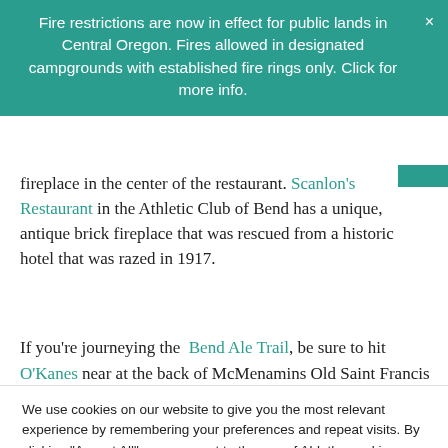Fire restrictions are now in effect for public lands in Central Oregon. Fires allowed in designated campgrounds with established fire rings only. Click for more info.
fireplace in the center of the restaurant. Scanlon's Restaurant in the Athletic Club of Bend has a unique, antique brick fireplace that was rescued from a historic hotel that was razed in 1917.
If you're journeying the Bend Ale Trail, be sure to hit O'Kanes near at the back of McMenamins Old Saint Francis
We use cookies on our website to give you the most relevant experience by remembering your preferences and repeat visits. By clicking "Accept All", you consent to the use of ALL the cookies. However, you may visit "Cookie Settings" to provide a controlled consent.
Cookie Settings
Accept All